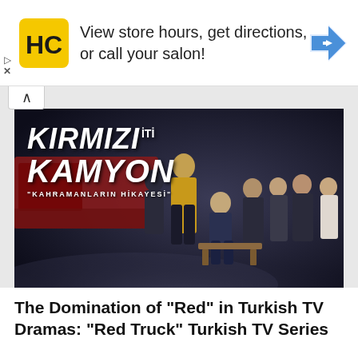[Figure (infographic): Advertisement banner with Haircutters (HC) logo in yellow and black circle, text reading 'View store hours, get directions, or call your salon!' and a blue Google Maps-style direction arrow icon on the right]
[Figure (photo): Promotional image for Turkish TV series 'Kırmızı Kamyon' (Red Truck) with subtitle 'Kahramanların Hikayesi' (Story of Heroes). Shows cast members including a woman in yellow jacket in center, surrounded by people in firefighter uniforms, against a dark industrial background with a red truck.]
The Domination of “Red” in Turkish TV Dramas: “Red Truck” Turkish TV Series